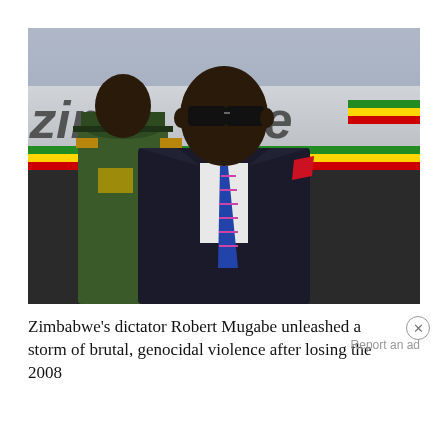[Figure (photo): Robert Mugabe in a dark suit with a blue and pink striped tie and red pocket square, wearing sunglasses, standing in front of a Zimbabwe Air banner. Behind him to the left is a military officer in a green uniform with gold epaulettes.]
Zimbabwe's dictator Robert Mugabe unleashed a storm of brutal, genocidal violence after losing the 2008
Report an ad